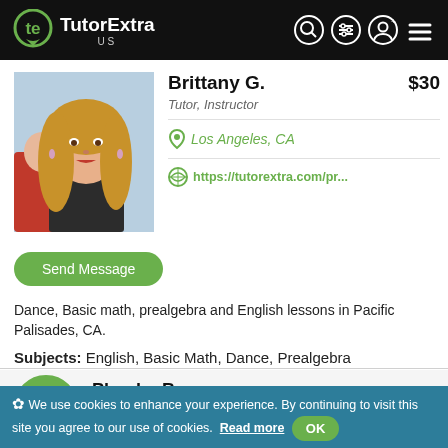TutorExtra US
[Figure (photo): Profile photo of Brittany G., a young woman with long curly blonde hair]
Brittany G.   $30
Tutor, Instructor
Los Angeles, CA
https://tutorextra.com/pr...
Send Message
Dance, Basic math, prealgebra and English lessons in Pacific Palisades, CA.
Subjects: English, Basic Math, Dance, Prealgebra
[Figure (photo): Profile photo placeholder for Phoebe B. — green circle avatar]
Phoebe B.   -
Tutor
✿ We use cookies to enhance your experience. By continuing to visit this site you agree to our use of cookies.  Read more   OK